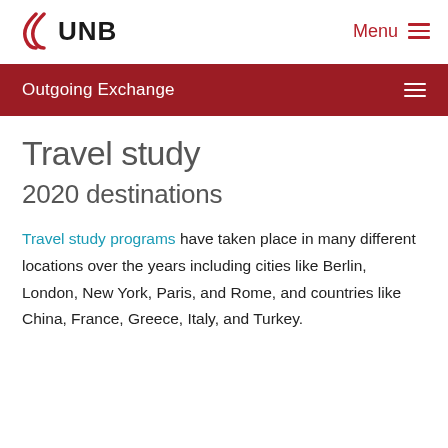UNB — Menu
Outgoing Exchange
Travel study
2020 destinations
Travel study programs have taken place in many different locations over the years including cities like Berlin, London, New York, Paris, and Rome, and countries like China, France, Greece, Italy, and Turkey.